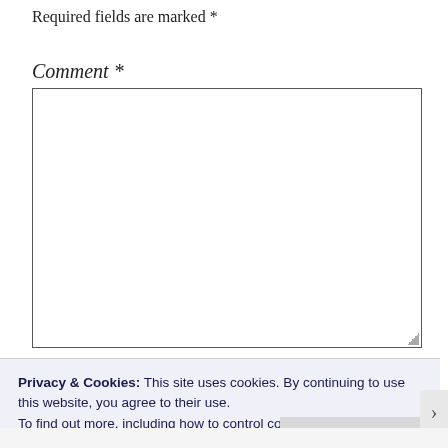Required fields are marked *
Comment *
[Figure (screenshot): Empty comment textarea input box with resize handle]
Privacy & Cookies: This site uses cookies. By continuing to use this website, you agree to their use.
To find out more, including how to control cookies, see here:
Cookie Policy
Close and accept